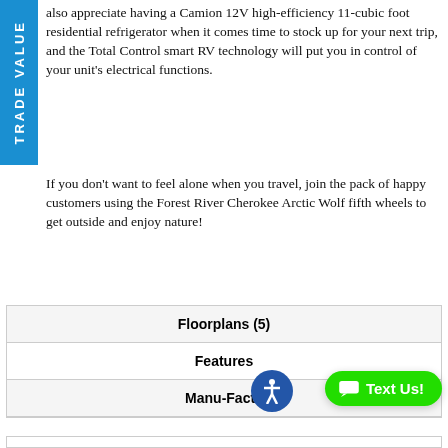also appreciate having a Camion 12V high-efficiency 11-cubic foot residential refrigerator when it comes time to stock up for your next trip, and the Total Control smart RV technology will put you in control of your unit's electrical functions.
If you don't want to feel alone when you travel, join the pack of happy customers using the Forest River Cherokee Arctic Wolf fifth wheels to get outside and enjoy nature!
| Floorplans (5) |
| Features |
| Manu-Facts |